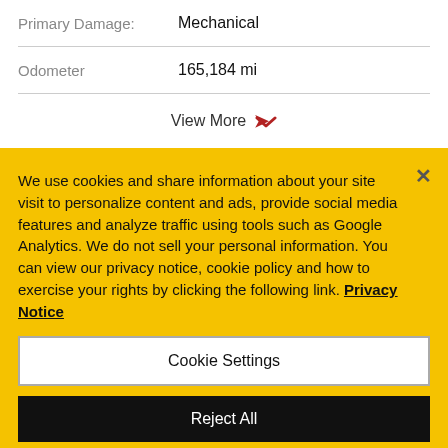Primary Damage: Mechanical
Odometer 165,184 mi
View More
We use cookies and share information about your site visit to personalize content and ads, provide social media features and analyze traffic using tools such as Google Analytics. We do not sell your personal information. You can view our privacy notice, cookie policy and how to exercise your rights by clicking the following link. Privacy Notice
Cookie Settings
Reject All
Accept Cookies